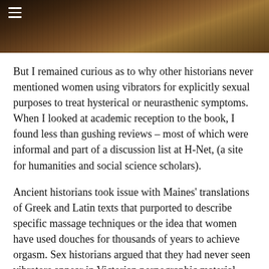[Figure (photo): Dark-toned photograph strip at the top of the page showing a figure in warm brown/amber tones, partially visible. A hamburger menu icon is overlaid in the top-left corner.]
But I remained curious as to why other historians never mentioned women using vibrators for explicitly sexual purposes to treat hysterical or neurasthenic symptoms. When I looked at academic reception to the book, I found less than gushing reviews – most of which were informal and part of a discussion list at H-Net, (a site for humanities and social science scholars).
Ancient historians took issue with Maines' translations of Greek and Latin texts that purported to describe specific massage techniques or the idea that women have used douches for thousands of years to achieve orgasm. Sex historians argued that they had never seen vibrators appear in Victorian pornographic material. Others contended that she was calling some machines vibrators when they were